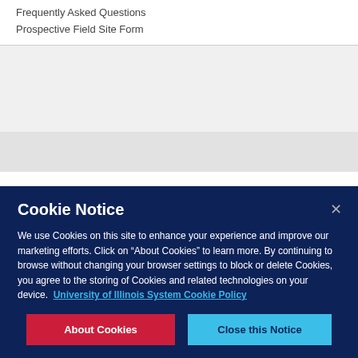Frequently Asked Questions
Prospective Field Site Form
Cookie Notice
We use Cookies on this site to enhance your experience and improve our marketing efforts. Click on “About Cookies” to learn more. By continuing to browse without changing your browser settings to block or delete Cookies, you agree to the storing of Cookies and related technologies on your device.  University of Illinois System Cookie Policy
About Cookies
Close this Notice